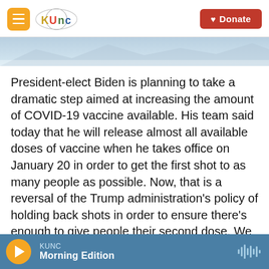[Figure (screenshot): KUNC radio website header with hamburger menu icon, KUNC logo, and red Donate button]
[Figure (photo): Faint hero image strip showing sky/landscape]
President-elect Biden is planning to take a dramatic step aimed at increasing the amount of COVID-19 vaccine available. His team said today that he will release almost all available doses of vaccine when he takes office on January 20 in order to get the first shot to as many people as possible. Now, that is a reversal of the Trump administration's policy of holding back shots in order to ensure there's enough to give people their second dose. We have one of the president's-elect COVID-19 advisors here to talk about that. Surgeon and Harvard professor, Dr. Atul Gawande, welcome back to ALL THINGS
KUNC Morning Edition